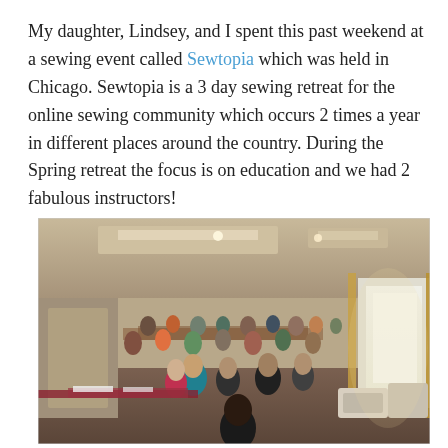My daughter, Lindsey, and I spent this past weekend at a sewing event called Sewtopia which was held in Chicago. Sewtopia is a 3 day sewing retreat for the online sewing community which occurs 2 times a year in different places around the country. During the Spring retreat the focus is on education and we had 2 fabulous instructors!
[Figure (photo): A large hotel ballroom filled with people seated at tables with sewing machines and fabric, attending a sewing retreat. The room has a high ceiling with recessed lighting, warm-toned walls, and a bright window/screen visible on the right side.]